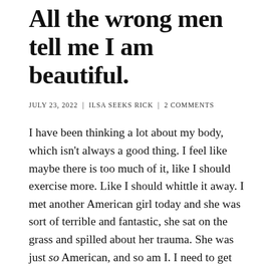All the wrong men tell me I am beautiful.
JULY 23, 2022 | ILSA SEEKS RICK | 2 COMMENTS
I have been thinking a lot about my body, which isn’t always a good thing. I feel like maybe there is too much of it, like I should exercise more. Like I should whittle it away. I met another American girl today and she was sort of terrible and fantastic, she sat on the grass and spilled about her trauma. She was just so American, and so am I. I need to get back into German lessons. I